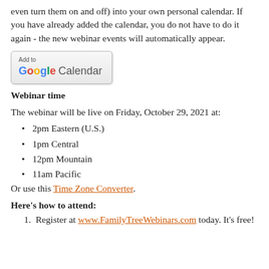even turn them on and off) into your own personal calendar. If you have already added the calendar, you do not have to do it again - the new webinar events will automatically appear.
[Figure (screenshot): Add to Google Calendar button]
Webinar time
The webinar will be live on Friday, October 29, 2021 at:
2pm Eastern (U.S.)
1pm Central
12pm Mountain
11am Pacific
Or use this Time Zone Converter.
Here's how to attend:
Register at www.FamilyTreeWebinars.com today. It's free!